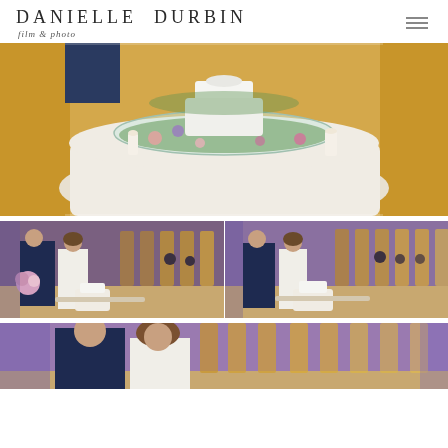DANIELLE DURBIN film & photo
[Figure (photo): Wedding cake on a round table with white tablecloth, surrounded by greenery and flowers on a glass plate, candles on the sides]
[Figure (photo): Two side-by-side photos of a bride and groom cutting the wedding cake at a reception venue with warm lighting]
[Figure (photo): Partial photo of bride and groom at the wedding reception, purple ambient lighting]